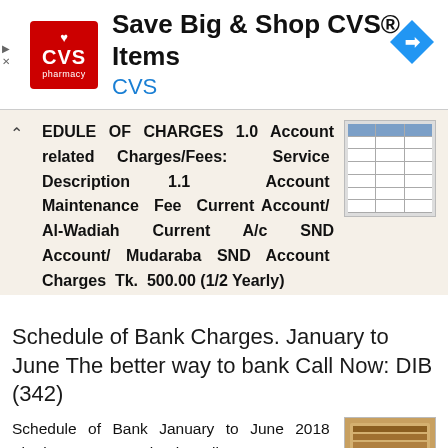[Figure (screenshot): CVS Pharmacy advertisement banner: red CVS logo with heart icon, text 'Save Big & Shop CVS® Items' and blue 'CVS' subtitle, with blue navigation diamond icon on right]
EDULE OF CHARGES 1.0 Account related Charges/Fees: Service Description 1.1 Account Maintenance Fee Current Account/ Al-Wadiah Current A/c SND Account/ Mudaraba SND Account Charges Tk. 500.00 (1/2 Yearly)
More information →
Schedule of Bank Charges. January to June The better way to bank Call Now: DIB (342)
Schedule of Bank January to June 2018 The better way to bank Call Now: 111-786-DIB (342) Our next branch...your home! The Dubai Islamic Internet Banking service offers you a range of tools that make your